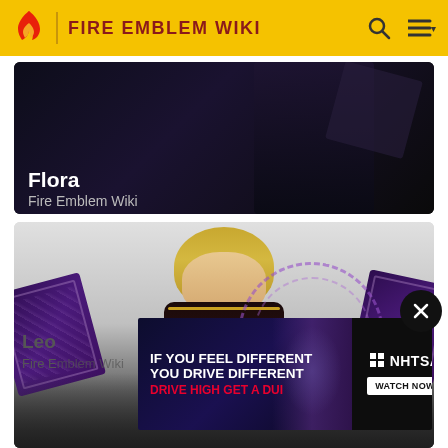FIRE EMBLEM WIKI
[Figure (screenshot): Flora character card - dark background with character name overlay]
Flora
Fire Emblem Wiki
[Figure (illustration): Leo character artwork - blonde anime character in dark armor with purple magical tome/cards]
Leo
Fire Emblem Wiki
[Figure (screenshot): NHTSA advertisement - IF YOU FEEL DIFFERENT YOU DRIVE DIFFERENT DRIVE HIGH GET A DUI - Watch Now]
IF YOU FEEL DIFFERENT YOU DRIVE DIFFERENT DRIVE HIGH GET A DUI
NHTSA WATCH NOW